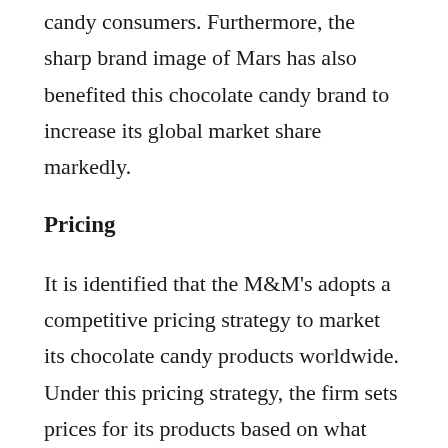candy consumers. Furthermore, the sharp brand image of Mars has also benefited this chocolate candy brand to increase its global market share markedly.
Pricing
It is identified that the M&M's adopts a competitive pricing strategy to market its chocolate candy products worldwide. Under this pricing strategy, the firm sets prices for its products based on what competitors are charging for their products. Since the attributes of the products remain almost similar in the chocolate candy market, M&M's management holds the view that the firm's strong brand recognition and superior quality services would assist it in taking